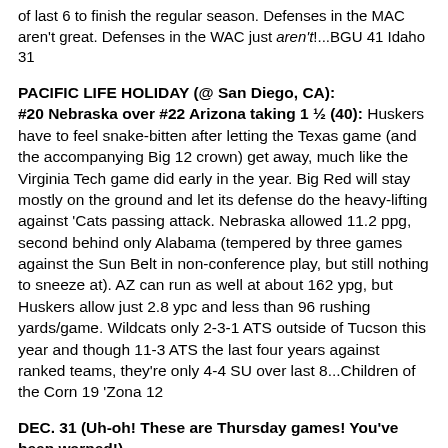of last 6 to finish the regular season. Defenses in the MAC aren't great. Defenses in the WAC just aren't!...BGU 41 Idaho 31
PACIFIC LIFE HOLIDAY (@ San Diego, CA): #20 Nebraska over #22 Arizona taking 1 ½ (40):
Huskers have to feel snake-bitten after letting the Texas game (and the accompanying Big 12 crown) get away, much like the Virginia Tech game did early in the year. Big Red will stay mostly on the ground and let its defense do the heavy-lifting against 'Cats passing attack. Nebraska allowed 11.2 ppg, second behind only Alabama (tempered by three games against the Sun Belt in non-conference play, but still nothing to sneeze at). AZ can run as well at about 162 ypg, but Huskers allow just 2.8 ypc and less than 96 rushing yards/game. Wildcats only 2-3-1 ATS outside of Tucson this year and though 11-3 ATS the last four years against ranked teams, they're only 4-4 SU over last 8...Children of the Corn 19 'Zona 12
DEC. 31 (Uh-oh! These are Thursday games! You've been warned!)